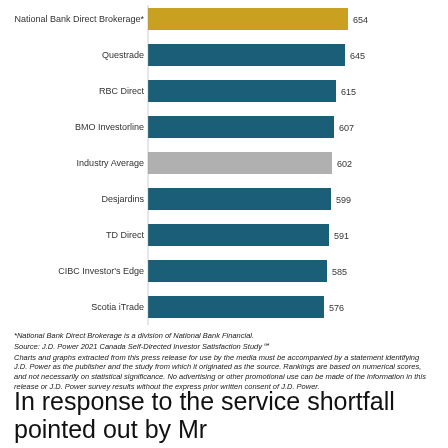[Figure (bar-chart): ]
*National Bank Direct Brokerage is a division of National Bank Financial.
Source: J.D. Power 2021 Canada Self-Directed Investor Satisfaction Study℠
Charts and graphs extracted from this press release for use by the media must be accompanied by a statement identifying J.D. Power as the publisher and the study from which it originated as the source. Rankings are based on numerical scores, and not necessarily on statistical significance. No advertising or other promotional use can be made of the information in this release or J.D. Power survey results without the express prior written consent of J.D. Power.
In response to the service shortfall pointed out by Mr